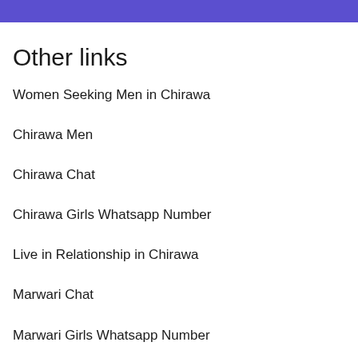Other links
Women Seeking Men in Chirawa
Chirawa Men
Chirawa Chat
Chirawa Girls Whatsapp Number
Live in Relationship in Chirawa
Marwari Chat
Marwari Girls Whatsapp Number
Marwari Dating